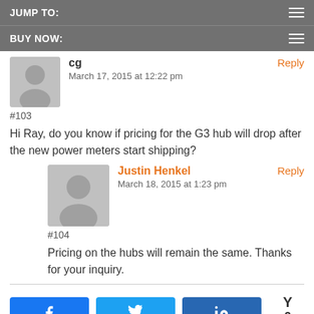JUMP TO:
BUY NOW:
cg
March 17, 2015 at 12:22 pm
#103
Hi Ray, do you know if pricing for the G3 hub will drop after the new power meters start shipping?
Justin Henkel
March 18, 2015 at 1:23 pm
#104
Pricing on the hubs will remain the same. Thanks for your inquiry.